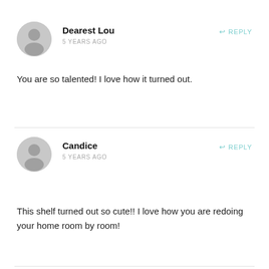Dearest Lou
5 YEARS AGO
REPLY
You are so talented! I love how it turned out.
Candice
5 YEARS AGO
REPLY
This shelf turned out so cute!! I love how you are redoing your home room by room!